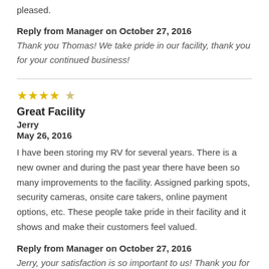pleased.
Reply from Manager on October 27, 2016
Thank you Thomas! We take pride in our facility, thank you for your continued business!
[Figure (other): Star rating: 4 out of 5 stars]
Great Facility
Jerry
May 26, 2016
I have been storing my RV for several years. There is a new owner and during the past year there have been so many improvements to the facility. Assigned parking spots, security cameras, onsite care takers, online payment options, etc. These people take pride in their facility and it shows and make their customers feel valued.
Reply from Manager on October 27, 2016
Jerry, your satisfaction is so important to us! Thank you for your